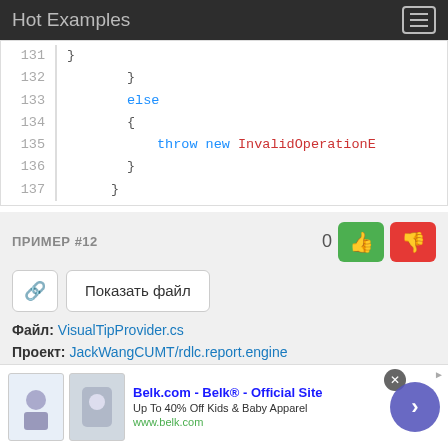Hot Examples
[Figure (screenshot): Code snippet showing lines 131-137 with else block and throw new InvalidOperationE...]
ПРИМЕР #12
0
Показать файл
Файл: VisualTipProvider.cs
Проект: JackWangCUMT/rdlc.report.engine
[Figure (screenshot): Advertisement banner: Belk.com - Belk® - Official Site. Up To 40% Off Kids & Baby Apparel. www.belk.com]